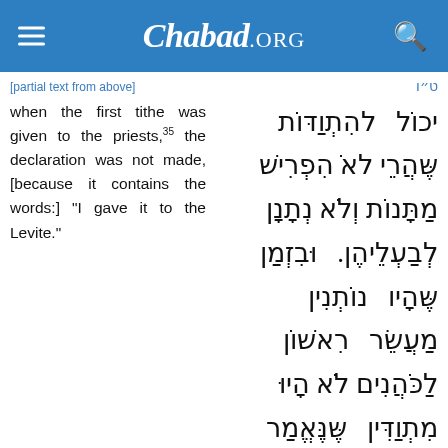Chabad.ORG
when the first tithe was given to the priests,35 the declaration was not made, [because it contains the words:] "I gave it to the Levite."
יכוֹל לְהִתְוַדּוֹת שֶׁהֲרֵי לֹא הִפְרִישׁ מַתָּנוֹת וְלֹא נְתָנָן לְבַעְלֵיהֶן. וּבִזְמַן שֶׁהָיוּ נוֹתְנִין מַעֲשֵׂר רִאשׁוֹן לַכֹּהֲנִים לֹא הָיוּ מִתְוַדִּין שֶׁנֶּאֱמַר (דברים כו יג) "וְגַם